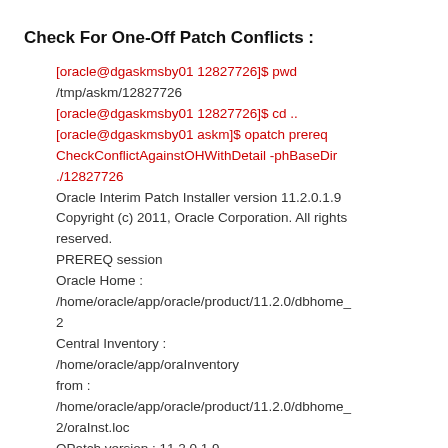Check For One-Off Patch Conflicts :
[oracle@dgaskmsby01 12827726]$ pwd
/tmp/askm/12827726
[oracle@dgaskmsby01 12827726]$ cd ..
[oracle@dgaskmsby01 askm]$ opatch prereq CheckConflictAgainstOHWithDetail -phBaseDir ./12827726
Oracle Interim Patch Installer version 11.2.0.1.9
Copyright (c) 2011, Oracle Corporation. All rights reserved.
PREREQ session
Oracle Home :
/home/oracle/app/oracle/product/11.2.0/dbhome_2
Central Inventory :
/home/oracle/app/oraInventory
from :
/home/oracle/app/oracle/product/11.2.0/dbhome_2/oraInst.loc
OPatch version : 11.2.0.1.9